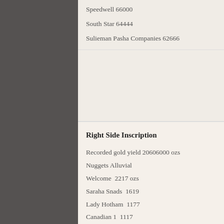Speedwell 66000
South Star 64444
Sulieman Pasha Companies 62666
Right Side Inscription
Recorded gold yield 20606000 ozs
Nuggets Alluvial
Welcome  2217 ozs
Saraha Snads  1619
Lady Hotham  1177
Canadian 1  1117
Canadian 2  1011
Koh 1 Noor  834
Eureka 625
Lady Loch 617